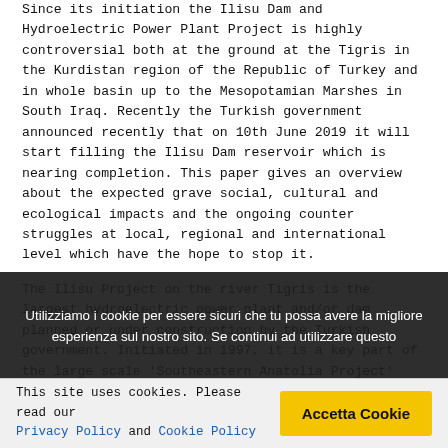Since its initiation the Ilisu Dam and Hydroelectric Power Plant Project is highly controversial both at the ground at the Tigris in the Kurdistan region of the Republic of Turkey and in whole basin up to the Mesopotamian Marshes in South Iraq. Recently the Turkish government announced recently that on 10th June 2019 it will start filling the Ilisu Dam reservoir which is nearing completion. This paper gives an overview about the expected grave social, cultural and ecological impacts and the ongoing counter struggles at local, regional and international level which have the hope to stop it.
The Ilisu Project on the river Tigris is the largest hydroelectric power plant and/or dam planned or under construction by the Turkish government. Initiated in 1997, it is a key part of the large scale 'Southeastern Anatolia Project' (GAP) in the mainly Kurdish populated Southeast of the Turkish state. GAP consists of 22 large dams with a capacity of 8000 MW and the planned
Utilizziamo i cookie per essere sicuri che tu possa avere la migliore esperienza sul nostro sito. Se continui ad utilizzare questo
This site uses cookies. Please read our Privacy Policy and Cookie Policy